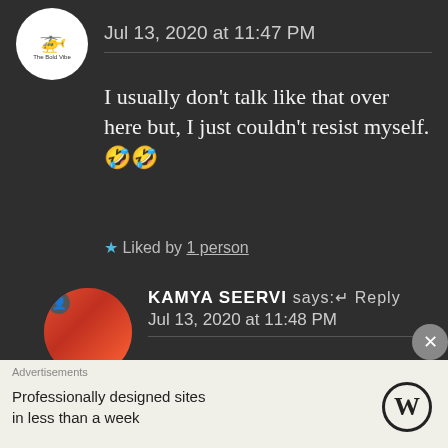[Figure (screenshot): Avatar of blog/user 'The Bold Vibe' with helicopter icon, circular white avatar]
Jul 13, 2020 at 11:47 PM
I usually don't talk like that over here but, I just couldn't resist myself.🤣🤣
★ Liked by 1 person
[Figure (photo): Circular avatar of Kamya Seervi, person sitting against orange-red wall]
KAMYA SEERVI says:↵ Reply
Jul 13, 2020 at 11:48 PM
I know 😄
You don't talk to anyone like
Advertisements
Professionally designed sites in less than a week